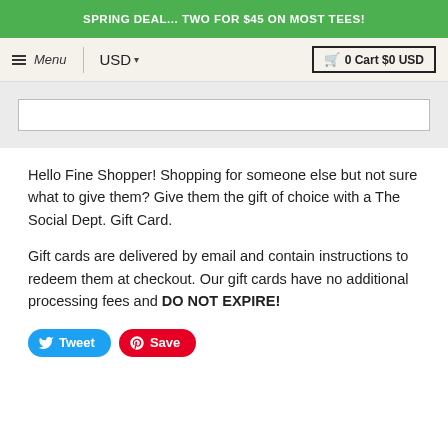SPRING DEAL... TWO FOR $45 ON MOST TEES!
≡ Menu  |  USD ▾        🛒 0 Cart $0 USD
Hello Fine Shopper! Shopping for someone else but not sure what to give them? Give them the gift of choice with a The Social Dept. Gift Card.
Gift cards are delivered by email and contain instructions to redeem them at checkout. Our gift cards have no additional processing fees and DO NOT EXPIRE!
Tweet  Save